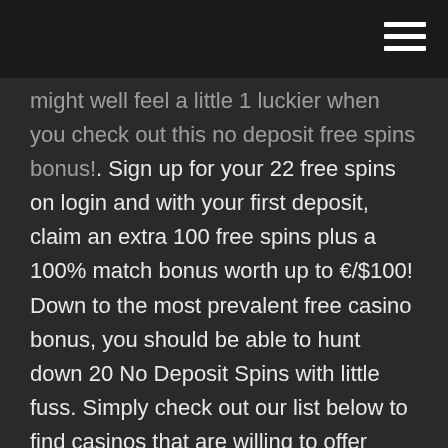might well feel a little 1 luckier when you check out this no deposit free spins bonus!. Sign up for your 22 free spins on login and with your first deposit, claim an extra 100 free spins plus a 100% match bonus worth up to €/$100! Down to the most prevalent free casino bonus, you should be able to hunt down 20 No Deposit Spins with little fuss. Simply check out our list below to find casinos that are willing to offer players this one. This leads to a nice middle ground, suiting the needs of both parties. Bonus Bez Depozytu, Warszawa (Warsaw, Poland). 143 likes · 2 talking about this. bonus bez depozytu, darmowe zakłady sportowe, bukmacher, zakłady live, free bets #1 No deposit online casino bonus blog, fresh updates, no deposit bonus offers for all casino players. Over 1,000,000 online casino bonus